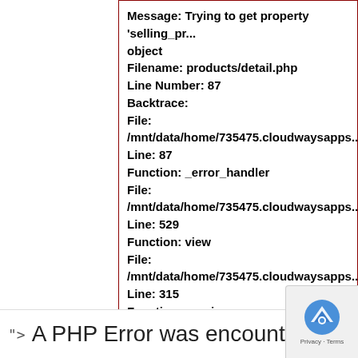Message: Trying to get property 'selling_pr... object
Filename: products/detail.php
Line Number: 87
Backtrace:
  File:
  /mnt/data/home/735475.cloudwaysapps...
  Line: 87
  Function: _error_handler
  File:
  /mnt/data/home/735475.cloudwaysapps...
  Line: 529
  Function: view
  File:
  /mnt/data/home/735475.cloudwaysapps...
  Line: 315
  Function: require_once
A PHP Error was encountered...